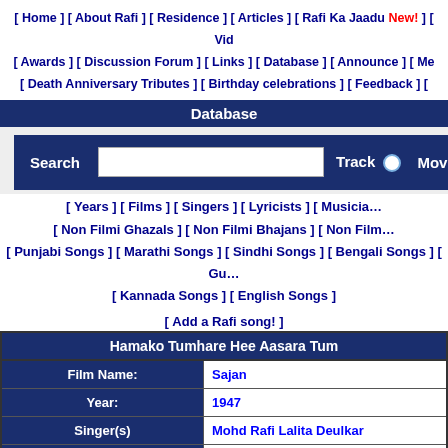[ Home ] [ About Rafi ] [ Residence ] [ Articles ] [ Rafi Ka Jaadu New! ] [ Vid... ] [ Awards ] [ Discussion Forum ] [ Links ] [ Database ] [ Announce ] [ Me... ] [ Death Anniversary Tributes ] [ Birthday celebrations ] [ Feedback ] [...]
Database
[Figure (other): Search form with Search label, text input, Track radio button, and Movie option]
[ Years ] [ Films ] [ Singers ] [ Lyricists ] [ Musicia...
[ Non Filmi Ghazals ] [ Non Filmi Bhajans ] [ Non Film... ] [ Punjabi Songs ] [ Marathi Songs ] [ Sindhi Songs ] [ Bengali Songs ] [ Gu... ] [ Kannada Songs ] [ English Songs ]
[ Add a Rafi song! ]
| Hamako Tumhare Hee Aasara Tum |
| --- |
| Film Name: | Sajan |
| Year: | 1947 |
| Singer(s) | Mohd Rafi Lalita Deulkar |
| Lyricist: | Moti |